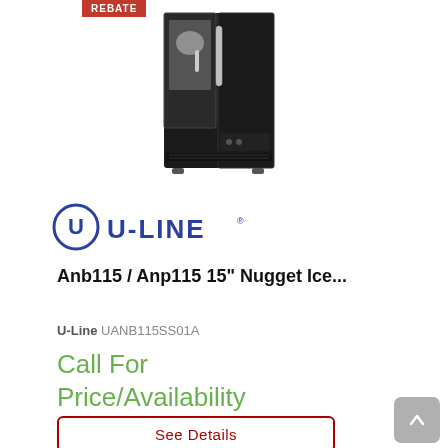[Figure (photo): U-Line 15 inch nugget ice maker appliance with open door showing interior, stainless steel handle, with a red REBATE badge in the top left corner]
[Figure (logo): U-LINE brand logo with circular U icon and U-LINE text in dark blue]
Anb115 / Anp115 15" Nugget Ice...
U-Line UANB115SS01A
Call For Price/Availability
See Details